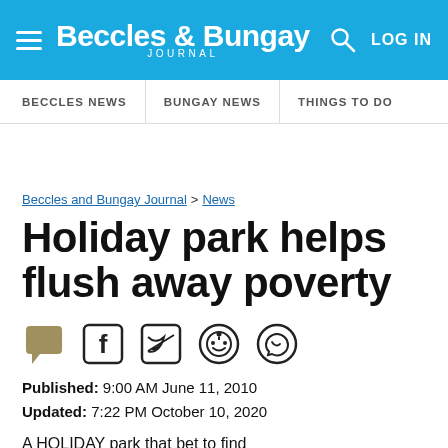Beccles & Bungay Journal — LOG IN
BECCLES NEWS | BUNGAY NEWS | THINGS TO DO
Beccles and Bungay Journal > News
Holiday park helps flush away poverty
Published: 9:00 AM June 11, 2010
Updated: 7:22 PM October 10, 2020
A HOLIDAY park that bet to find